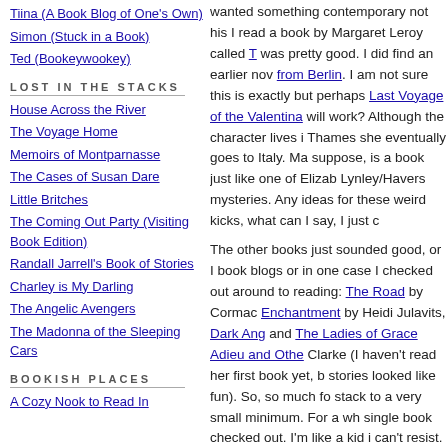Tiina (A Book Blog of One's Own)
Simon (Stuck in a Book)
Ted (Bookeywookey)
LOST IN THE STACKS
House Across the River
The Voyage Home
Memoirs of Montparnasse
The Cases of Susan Dare
Little Britches
The Coming Out Party (Visiting Book Edition)
Randall Jarrell's Book of Stories
Charley is My Darling
The Angelic Avengers
The Madonna of the Sleeping Cars
BOOKISH PLACES
A Cozy Nook to Read In
wanted something contemporary not his... I read a book by Margaret Leroy called T... was pretty good. I did find an earlier nov... from Berlin. I am not sure this is exactly... but perhaps Last Voyage of the Valentina... will work? Although the character lives i... Thames she eventually goes to Italy. Ma... suppose, is a book just like one of Elizab... Lynley/Havers mysteries. Any ideas for ... these weird kicks, what can I say, I just c...
The other books just sounded good, or I... book blogs or in one case I checked out... around to reading: The Road by Cormac... Enchantment by Heidi Julavits, Dark Ang... and The Ladies of Grace Adieu and Othe... Clarke (I haven't read her first book yet, b... stories looked like fun). So, so much fo... stack to a very small minimum. For a wh... single book checked out. I'm like a kid i... can't resist. And these aren't even fatten...
Posted on January 02, 2007 in Books | Permalink